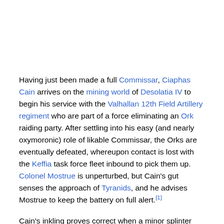Having just been made a full Commissar, Ciaphas Cain arrives on the mining world of Desolatia IV to begin his service with the Valhallan 12th Field Artillery regiment who are part of a force eliminating an Ork raiding party. After settling into his easy (and nearly oxymoronic) role of likable Commissar, the Orks are eventually defeated, whereupon contact is lost with the Keffia task force fleet inbound to pick them up. Colonel Mostrue is unperturbed, but Cain's gut senses the approach of Tyranids, and he advises Mostrue to keep the battery on full alert.[1]
Cain's inkling proves correct when a minor splinter fleet of